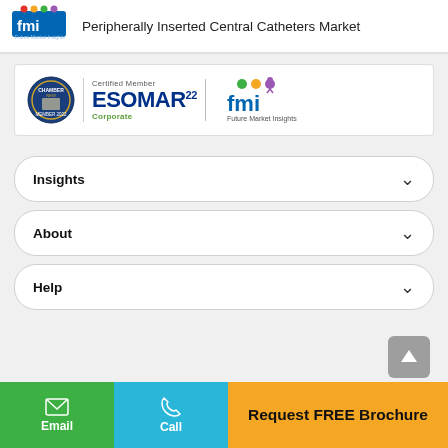Peripherally Inserted Central Catheters Market
[Figure (logo): FMI Future Market Insights logo in header]
[Figure (logo): Certified Member ESOMAR22 Corporate and FMI Future Market Insights logos in certification banner]
Insights
About
Help
Request FREE Brochure
Email
Call